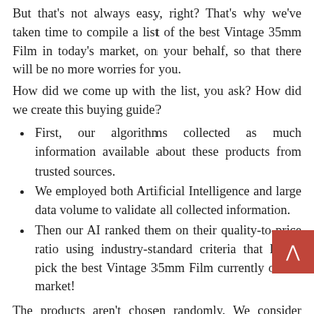But that's not always easy, right? That's why we've taken time to compile a list of the best Vintage 35mm Film in today's market, on your behalf, so that there will be no more worries for you.
How did we come up with the list, you ask? How did we create this buying guide?
First, our algorithms collected as much information available about these products from trusted sources.
We employed both Artificial Intelligence and large data volume to validate all collected information.
Then our AI ranked them on their quality-to-price ratio using industry-standard criteria that let us pick the best Vintage 35mm Film currently on the market!
The products aren't chosen randomly. We consider several criteria before assembling a list. Some of the criteria are discussed below-